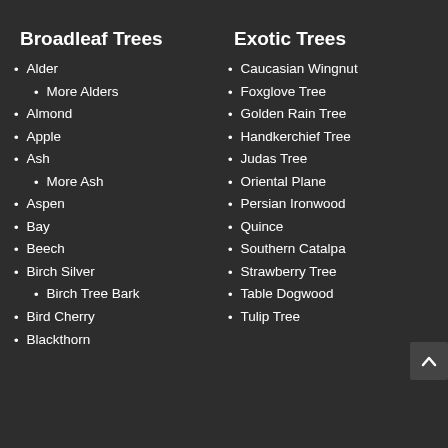Broadleaf Trees
Alder
More Alders
Almond
Apple
Ash
More Ash
Aspen
Bay
Beech
Birch Silver
Birch Tree Bark
Bird Cherry
Blackthorn
Exotic Trees
Caucasian Wingnut
Foxglove Tree
Golden Rain Tree
Handkerchief Tree
Judas Tree
Oriental Plane
Persian Ironwood
Quince
Southern Catalpa
Strawberry Tree
Table Dogwood
Tulip Tree